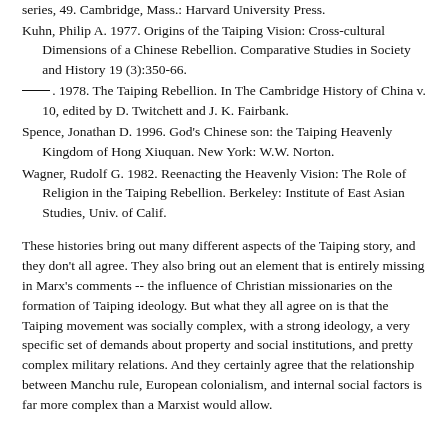series, 49. Cambridge, Mass.: Harvard University Press.
Kuhn, Philip A. 1977. Origins of the Taiping Vision: Cross-cultural Dimensions of a Chinese Rebellion. Comparative Studies in Society and History 19 (3):350-66.
———. 1978. The Taiping Rebellion. In The Cambridge History of China v. 10, edited by D. Twitchett and J. K. Fairbank.
Spence, Jonathan D. 1996. God's Chinese son: the Taiping Heavenly Kingdom of Hong Xiuquan. New York: W.W. Norton.
Wagner, Rudolf G. 1982. Reenacting the Heavenly Vision: The Role of Religion in the Taiping Rebellion. Berkeley: Institute of East Asian Studies, Univ. of Calif.
These histories bring out many different aspects of the Taiping story, and they don't all agree. They also bring out an element that is entirely missing in Marx's comments -- the influence of Christian missionaries on the formation of Taiping ideology. But what they all agree on is that the Taiping movement was socially complex, with a strong ideology, a very specific set of demands about property and social institutions, and pretty complex military relations. And they certainly agree that the relationship between Manchu rule, European colonialism, and internal social factors is far more complex than a Marxist would allow.